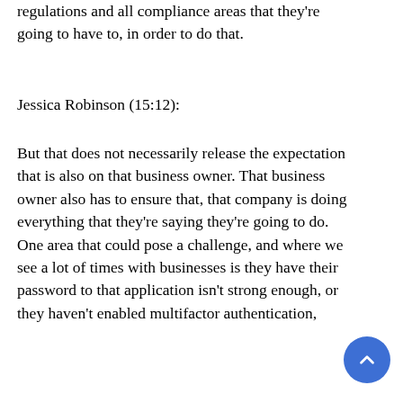regulations and all compliance areas that they're going to have to, in order to do that.
Jessica Robinson (15:12):
But that does not necessarily release the expectation that is also on that business owner. That business owner also has to ensure that, that company is doing everything that they're saying they're going to do. One area that could pose a challenge, and where we see a lot of times with businesses is they have their password to that application isn't strong enough, or they haven't enabled multifactor authentication,